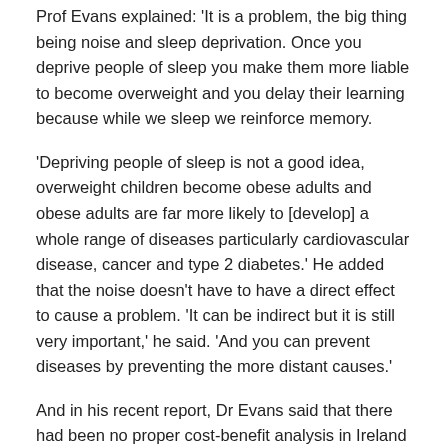Prof Evans explained: 'It is a problem, the big thing being noise and sleep deprivation. Once you deprive people of sleep you make them more liable to become overweight and you delay their learning because while we sleep we reinforce memory.
'Depriving people of sleep is not a good idea, overweight children become obese adults and obese adults are far more likely to [develop] a whole range of diseases particularly cardiovascular disease, cancer and type 2 diabetes.' He added that the noise doesn't have to have a direct effect to cause a problem. 'It can be indirect but it is still very important,' he said. 'And you can prevent diseases by preventing the more distant causes.'
And in his recent report, Dr Evans said that there had been no proper cost-benefit analysis in Ireland before the widespread introduction of wind power.